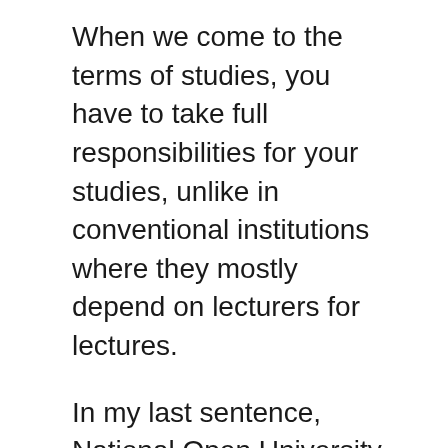When we come to the terms of studies, you have to take full responsibilities for your studies, unlike in conventional institutions where they mostly depend on lecturers for lectures.
In my last sentence, National Open University of Nigeria (NOUN) is a widely well-recognised institution, which is owned and funded by the Federal Government of Nigeria.
And to be sure about it, the institution is being regulated and instructed by the National Universities Commission (NUC), just like all other conventional universities. So with all this fact, all students should stop doubting the validity and accountability of